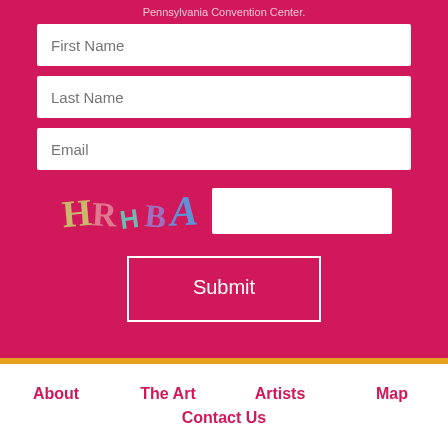Pennsylvania Convention Center.
First Name
Last Name
Email
[Figure (other): CAPTCHA image showing distorted letters: H R H B A in various colors and fonts, with a text input box next to it]
Submit
About
The Art
Artists
Map
Contact Us